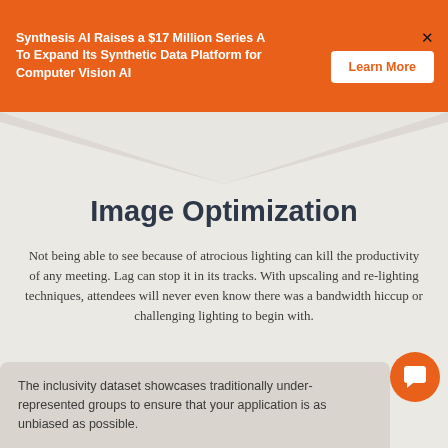Synthesis AI Raises a $17 Million Series A To Expand Its Synthetic Data Platform for Computer Vision AI
Image Optimization
Not being able to see because of atrocious lighting can kill the productivity of any meeting. Lag can stop it in its tracks. With upscaling and re-lighting techniques, attendees will never even know there was a bandwidth hiccup or challenging lighting to begin with.
The inclusivity dataset showcases traditionally under-represented groups to ensure that your application is as unbiased as possible.